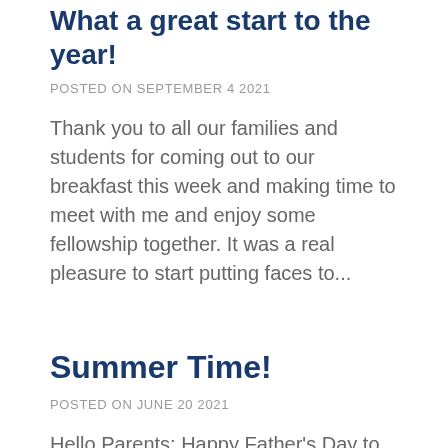What a great start to the year!
POSTED ON SEPTEMBER 4 2021
Thank you to all our families and students for coming out to our breakfast this week and making time to meet with me and enjoy some fellowship together. It was a real pleasure to start putting faces to...
Summer Time!
POSTED ON JUNE 20 2021
Hello Parents; Happy Father's Day to all